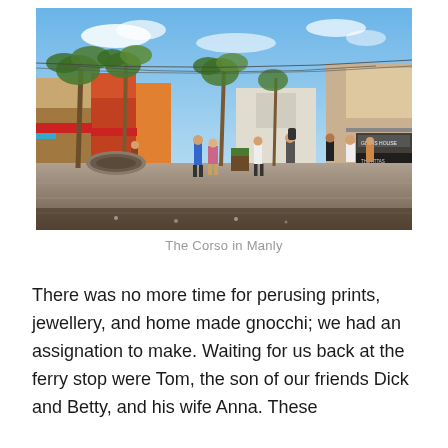[Figure (photo): Outdoor pedestrian shopping street (The Corso in Manly, Australia) with palm trees lining both sides, shopfronts visible on either side, people walking, and a blue sky with light clouds above.]
The Corso in Manly
There was no more time for perusing prints, jewellery, and home made gnocchi; we had an assignation to make. Waiting for us back at the ferry stop were Tom, the son of our friends Dick and Betty, and his wife Anna. These